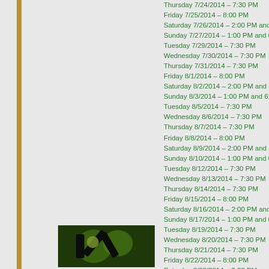Thursday 7/24/2014 – 7:30 PM
Friday 7/25/2014 – 8:00 PM
Saturday 7/26/2014 – 2:00 PM and 8:00 PM
Sunday 7/27/2014 – 1:00 PM and 6:30 PM
Tuesday 7/29/2014 – 7:30 PM
Wednesday 7/30/2014 – 7:30 PM
Thursday 7/31/2014 – 7:30 PM
Friday 8/1/2014 – 8:00 PM
Saturday 8/2/2014 – 2:00 PM and 8:00 PM
Sunday 8/3/2014 – 1:00 PM and 6:30 PM
Tuesday 8/5/2014 – 7:30 PM
Wednesday 8/6/2014 – 7:30 PM
Thursday 8/7/2014 – 7:30 PM
Friday 8/8/2014 – 8:00 PM
Saturday 8/9/2014 – 2:00 PM and 8:00 PM
Sunday 8/10/2014 – 1:00 PM and 6:30 PM
Tuesday 8/12/2014 – 7:30 PM
Wednesday 8/13/2014 – 7:30 PM
Thursday 8/14/2014 – 7:30 PM
Friday 8/15/2014 – 8:00 PM
Saturday 8/16/2014 – 2:00 PM and 8:00 PM
Sunday 8/17/2014 – 1:00 PM and 6:30 PM
Tuesday 8/19/2014 – 7:30 PM
Wednesday 8/20/2014 – 7:30 PM
Thursday 8/21/2014 – 7:30 PM
Friday 8/22/2014 – 8:00 PM
Saturday 8/23/2014 – 2:00 PM and 8:00 PM
Sunday 8/24/2014 – 1:00 PM and 6:30 PM
[Figure (photo): Thumbnail image showing a dark abstract pattern with yellow-green organic shapes on a green background]